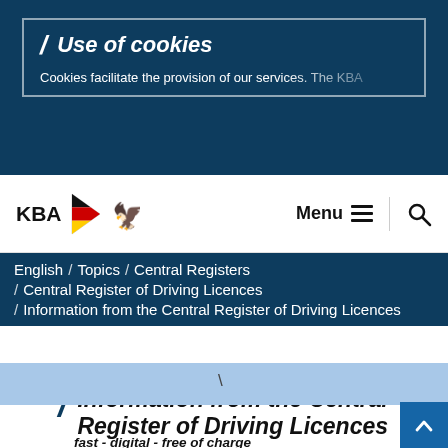Use of cookies
Cookies facilitate the provision of our services. The KBA
[Figure (logo): KBA logo with German flag triangle and eagle]
Menu
English / Topics / Central Registers / Central Register of Driving Licences / Information from the Central Register of Driving Licences
Information from the Central Register of Driving Licences
fast - digital - free of charge
If you would like to view your driver's license data in